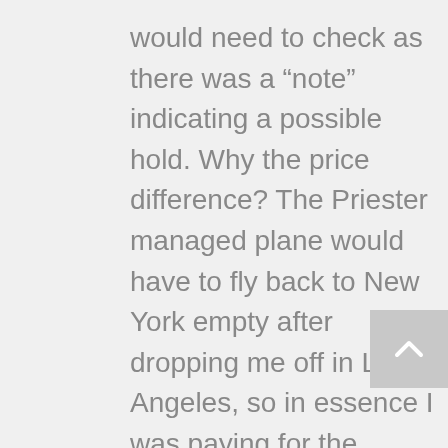would need to check as there was a “note” indicating a possible hold. Why the price difference? The Priester managed plane would have to fly back to New York empty after dropping me off in Los Angeles, so in essence I was paying for the roundtrip (empty leg) flight. For what it’s worth, when I researched the tail